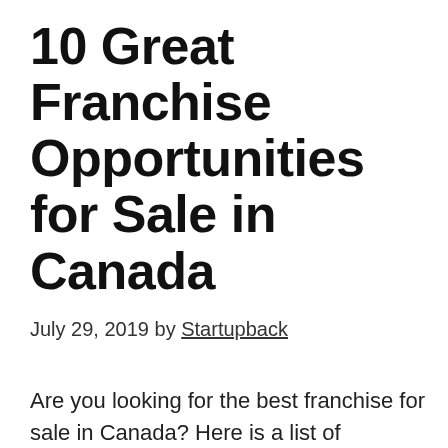10 Great Franchise Opportunities for Sale in Canada
July 29, 2019 by Startupback
Are you looking for the best franchise for sale in Canada? Here is a list of profitable opportunities to invest in.